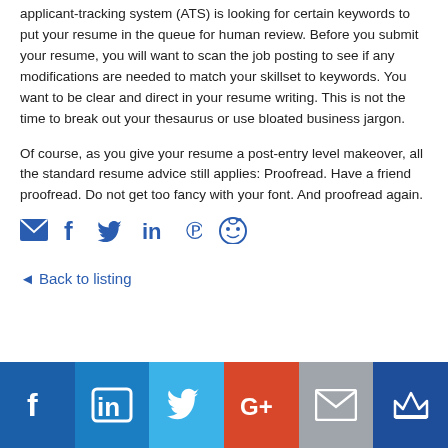applicant-tracking system (ATS) is looking for certain keywords to put your resume in the queue for human review. Before you submit your resume, you will want to scan the job posting to see if any modifications are needed to match your skillset to keywords. You want to be clear and direct in your resume writing. This is not the time to break out your thesaurus or use bloated business jargon.
Of course, as you give your resume a post-entry level makeover, all the standard resume advice still applies: Proofread. Have a friend proofread. Do not get too fancy with your font. And proofread again.
[Figure (infographic): Row of social sharing icons: email envelope, Facebook f, Twitter bird, LinkedIn in, Pinterest p, Reddit alien — all in blue]
◄ Back to listing
[Figure (infographic): Footer bar with six social media icon tiles: Facebook (dark blue), LinkedIn (medium blue), Twitter (light blue), Google+ (red-orange), Email (gray), Crown/Moz (dark navy blue)]